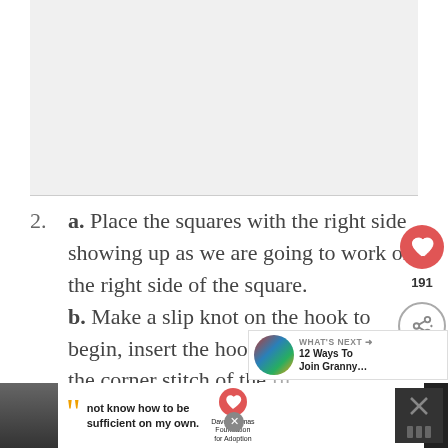[Figure (photo): Image placeholder area at top of page, light gray]
2. a. Place the squares with the right side showing up as we are going to work on the right side of the square. b. Make a slip knot on the hook to begin, insert the hook into the loop of the corner stitch of the first square, bring a loop out and make a
[Figure (infographic): What's Next bar showing '12 Ways To Join Granny...' with colorful circular image]
[Figure (photo): Advertisement banner at bottom: Dave Thomas Foundation for Adoption quote 'not know how to be sufficient on my own.']